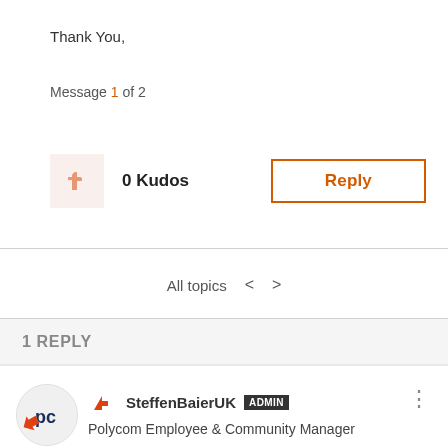Thank You,
Message 1 of 2
0 Kudos
Reply
All topics
1 REPLY
SteffenBaierUK ADMIN
Polycom Employee & Community Manager
09-02-2014 08:16 AM